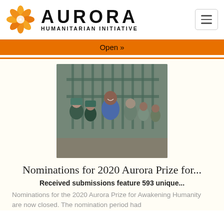AURORA HUMANITARIAN INITIATIVE
Open »
[Figure (photo): A smiling adult man surrounded by children wearing school uniforms and headscarves, standing in front of a metal gate outdoors.]
Nominations for 2020 Aurora Prize for...
Received submissions feature 593 unique...
Nominations for the 2020 Aurora Prize for Awakening Humanity are now closed. The nomination period had